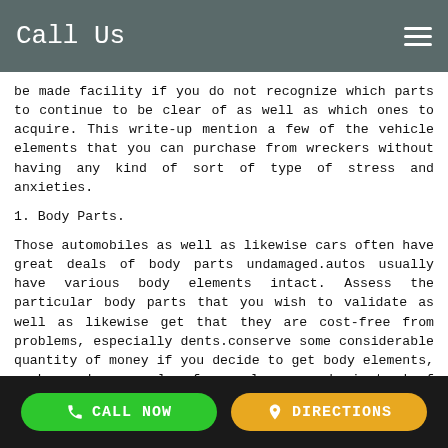Call Us
be made facility if you do not recognize which parts to continue to be clear of as well as which ones to acquire. This write-up mention a few of the vehicle elements that you can purchase from wreckers without having any kind of sort of type of stress and anxieties.
1. Body Parts.
Those automobiles as well as likewise cars often have great deals of body parts undamaged.autos usually have various body elements intact. Assess the particular body parts that you wish to validate as well as likewise get that they are cost-free from problems, especially dents.conserve some considerable quantity of money if you decide to get body elements, such as door panels, from salvage yards instead of acquiring new ones.
2. Edges.
CALL NOW   DIRECTIONS